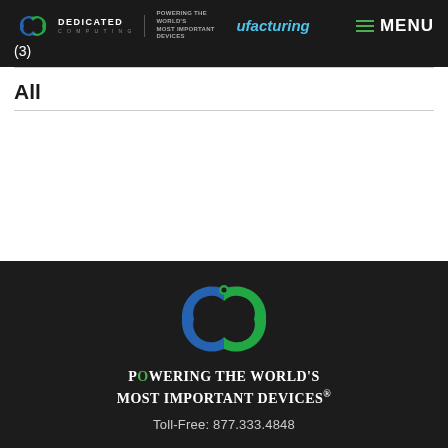Dedicated Computing | Powering the World's Most Important Devices | Manufacturing (3) | MENU
All
[Figure (logo): Dedicated Computing logo with tagline 'Powering the World's Most Important Devices' and phone number Toll-Free: 877.333.4848 on dark background]